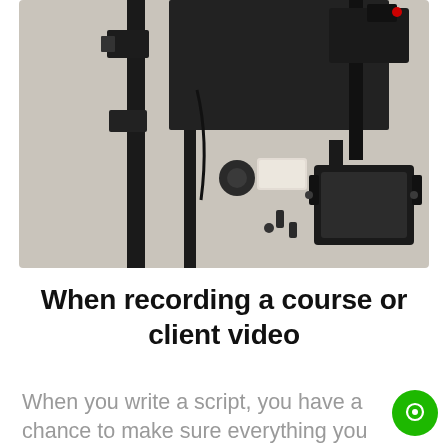[Figure (photo): Overhead view of black camera/video equipment parts and accessories laid out on a light beige surface, including poles, mounting brackets, a ball mount, screws, and a phone/tablet holder]
When recording a course or client video
When you write a script, you have a chance to make sure everything you